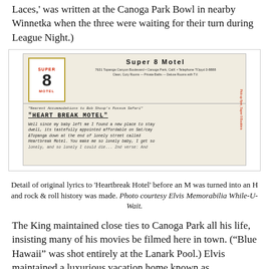Laces,' was written at the Canoga Park Bowl in nearby Winnetka when the three were waiting for their turn during League Night.)
[Figure (photo): Detail of a Super 8 Motel notepad with handwritten original lyrics to 'Heartbreak Hotel' (originally titled 'Heartbreak Motel') including the text 'HEART BREAK MOTEL' and handwritten song lyrics. The notepad header reads 'Super 8 Motel, 7631 Topanga Canyon Boulevard, Canoga Park, Calif.']
Detail of original lyrics to 'Heartbreak Hotel' before an M was turned into an H and rock & roll history was made. Photo courtesy Elvis Memorabilia While-U-Wait.
The King maintained close ties to Canoga Park all his life, insisting many of his movies be filmed here in town. (“Blue Hawaii” was shot entirely at the Lanark Pool.) Elvis maintained a luxurious vacation home known as “Graceland SFV” that still exists at Kona Kai Village Mobile Estates on Eton in Canoga Park’s tight-knit mobile home district, and was known to frequent Sid’s Seafood House with good friend